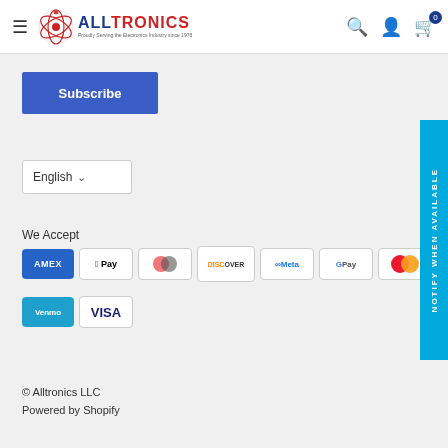Alltronics — Proudly Serving the Electronics Industry since 1978
Subscribe
English
We Accept
[Figure (logo): Payment method icons: Amex, Apple Pay, Diners, Discover, Meta, Google Pay, Mastercard, PayPal, (partial), Venmo, Visa]
© Alltronics LLC
Powered by Shopify